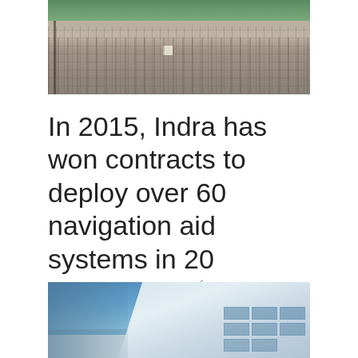[Figure (photo): Aerial or ground-level view of a paved plaza/courtyard area with green shrubs, brick or stone paving, and street lamp]
In 2015, Indra has won contracts to deploy over 60 navigation aid systems in 20 Chinese airports
22/12/2015 przez Redakcja Świat
[Figure (photo): Modern glass and concrete office building facade against a blue sky]